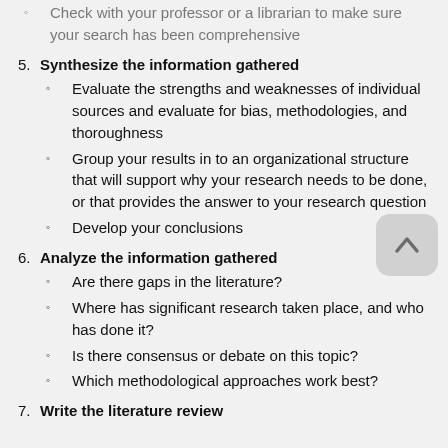Check with your professor or a librarian to make sure your search has been comprehensive
5. Synthesize the information gathered
Evaluate the strengths and weaknesses of individual sources and evaluate for bias, methodologies, and thoroughness
Group your results in to an organizational structure that will support why your research needs to be done, or that provides the answer to your research question
Develop your conclusions
6. Analyze the information gathered
Are there gaps in the literature?
Where has significant research taken place, and who has done it?
Is there consensus or debate on this topic?
Which methodological approaches work best?
7. Write the literature review